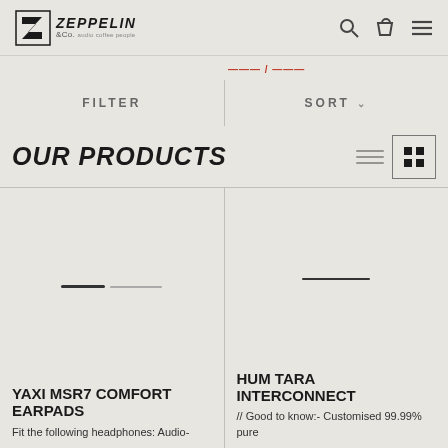Zeppelin & Co. — site header with search, cart, menu icons
FILTER
SORT
OUR PRODUCTS
YAXI MSR7 COMFORT EARPADS
Fit the following headphones: Audio-
HUM TARA INTERCONNECT
// Good to know:- Customised 99.99% pure